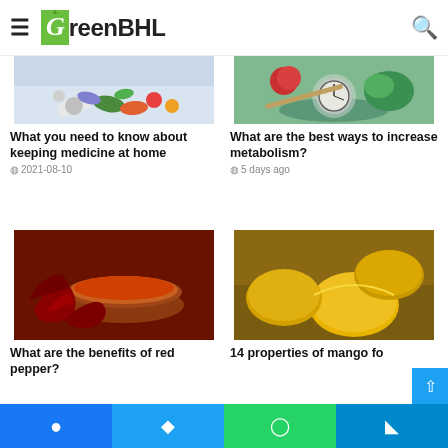GreenBHL
[Figure (photo): Colorful pills and capsules scattered on a light blue background]
What you need to know about keeping medicine at home
2021-08-10
[Figure (photo): Hand holding a spoon with vegetables, bowl of greens, and a weighing scale in background]
What are the best ways to increase metabolism?
5 days ago
[Figure (photo): Bowl of red chili pepper powder with dried red chilies on wooden surface]
What are the benefits of red pepper?
[Figure (photo): Yellow mangoes on a wooden table]
14 properties of mango fo
Facebook | Twitter | WhatsApp | Telegram